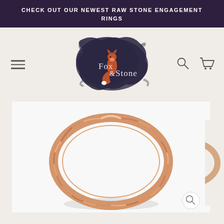CHECK OUT OUR NEWEST RAW STONE ENGAGEMENT RINGS
[Figure (logo): Fox & Stone jewelry brand logo: a dark watercolor ink blot background with a fox illustration and the text 'Fox & Stone']
[Figure (photo): Rose gold faceted band ring photographed on white background, showing a geometric faceted design all the way around the ring]